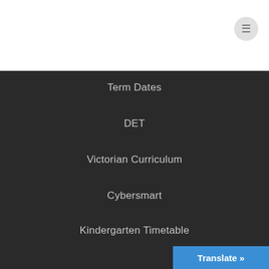Term Dates
DET
Victorian Curriculum
Cybersmart
Kindergarten Timetable
Translate »